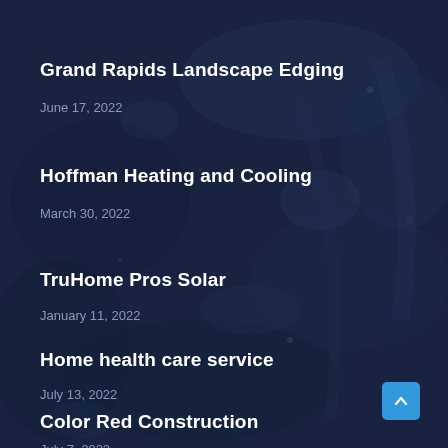Grand Rapids Landscape Edging
June 17, 2022
Hoffman Heating and Cooling
March 30, 2022
TruHome Pros Solar
January 11, 2022
Home health care service
July 13, 2022
Color Red Construction
July 7, 2022